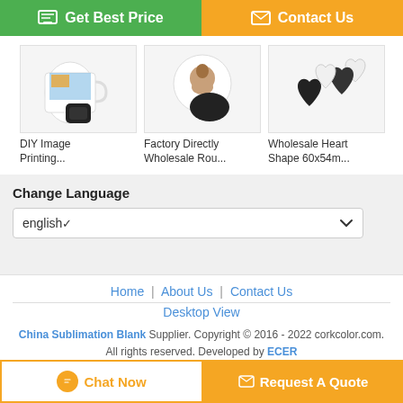[Figure (other): Green 'Get Best Price' button and orange 'Contact Us' button side by side]
[Figure (photo): DIY Image Printing product thumbnail - mug with image and black magnet]
DIY Image Printing...
[Figure (photo): Factory Directly Wholesale Round product thumbnail - round button with portrait]
Factory Directly Wholesale Rou...
[Figure (photo): Wholesale Heart Shape 60x54m product thumbnail - black heart shaped magnets]
Wholesale Heart Shape 60x54m...
Change Language
english
Home | About Us | Contact Us
Desktop View
China Sublimation Blank Supplier. Copyright © 2016 - 2022 corkcolor.com. All rights reserved. Developed by ECER
[Figure (other): Orange 'Chat Now' button and orange 'Request A Quote' button at bottom]